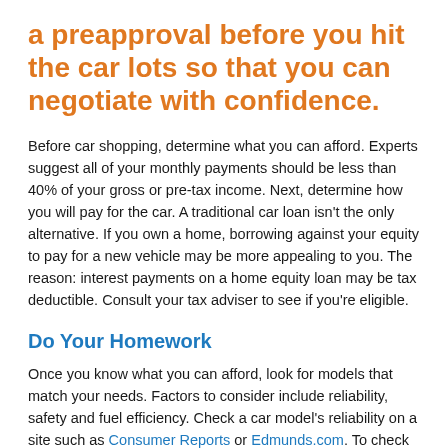a preapproval before you hit the car lots so that you can negotiate with confidence.
Before car shopping, determine what you can afford. Experts suggest all of your monthly payments should be less than 40% of your gross or pre-tax income. Next, determine how you will pay for the car. A traditional car loan isn't the only alternative. If you own a home, borrowing against your equity to pay for a new vehicle may be more appealing to you. The reason: interest payments on a home equity loan may be tax deductible. Consult your tax adviser to see if you're eligible.
Do Your Homework
Once you know what you can afford, look for models that match your needs. Factors to consider include reliability, safety and fuel efficiency. Check a car model's reliability on a site such as Consumer Reports or Edmunds.com. To check a car's safety